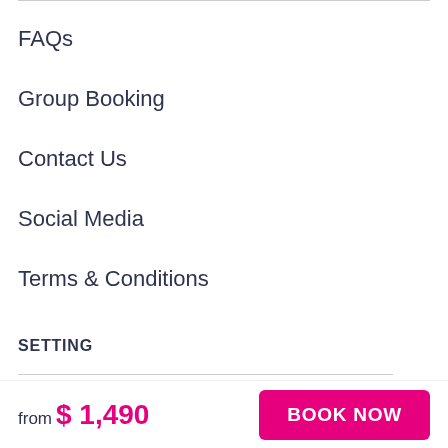FAQs
Group Booking
Contact Us
Social Media
Terms & Conditions
SETTING
Languages
from $ 1,490
BOOK NOW